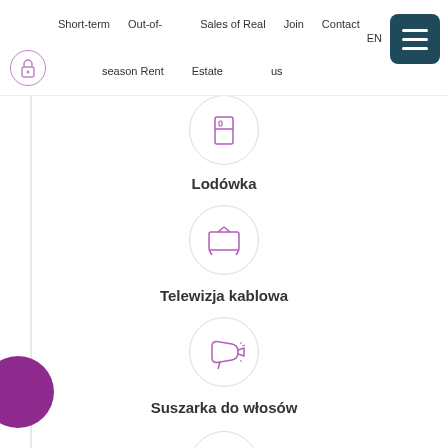Short-term | Out-of-season Rent | Sales of Real Estate | Join us | Contact | EN
[Figure (illustration): Icon of a refrigerator in a light circle outline, purple color]
Lodówka
[Figure (illustration): Icon of a television set in a light circle outline, purple color]
Telewizja kablowa
[Figure (illustration): Icon of a hair dryer in a light circle outline, purple color]
Suszarka do włosów
[Figure (illustration): Icon of an iron in a light circle outline, purple color (partially visible)]